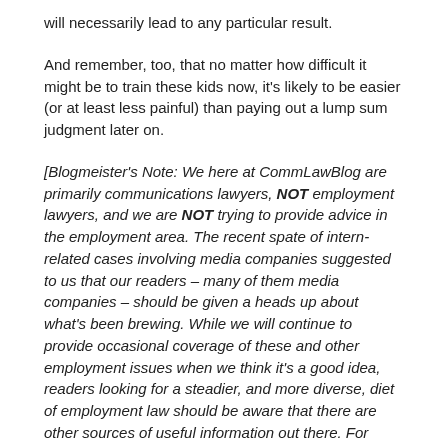will necessarily lead to any particular result.
And remember, too, that no matter how difficult it might be to train these kids now, it's likely to be easier (or at least less painful) than paying out a lump sum judgment later on.
[Blogmeister's Note: We here at CommLawBlog are primarily communications lawyers, NOT employment lawyers, and we are NOT trying to provide advice in the employment area. The recent spate of intern-related cases involving media companies suggested to us that our readers – many of them media companies – should be given a heads up about what's been brewing. While we will continue to provide occasional coverage of these and other employment issues when we think it's a good idea, readers looking for a steadier, and more diverse, diet of employment law should be aware that there are other sources of useful information out there. For example, a blog edited by our friend, Bill Schreiner, recently posted an interesting piece on the enforcement of noncompetition agreements in a broadcast context.]